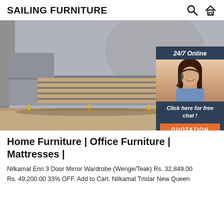SAILING FURNITURE
[Figure (screenshot): Product banner showing a grey upholstered bed frame with wooden slats, gold legs, placed in a bedroom setting with curtains. Overlaid with a 24/7 Online chat widget featuring an agent photo, 'Click here for free chat!' text, and an orange QUOTATION button.]
Home Furniture | Office Furniture | Mattresses |
Nilkamal Enri 3 Door Mirror Wardrobe (Wenge/Teak) Rs. 32,849.00 Rs. 49,200.00 33% OFF. Add to Cart. Nilkamal Tristar New Queen